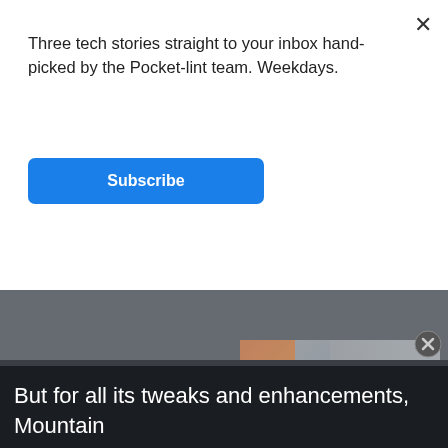Three tech stories straight to your inbox hand-picked by the Pocket-lint team. Weekdays.
Subscribe
[Figure (screenshot): Video player showing smart home devices including Amazon Echo speakers and other cylindrical smart speakers, with a play button overlay. The video section has a dark gray background with a thumbnail of the devices visible on the right side.]
But for all its tweaks and enhancements, Mountain